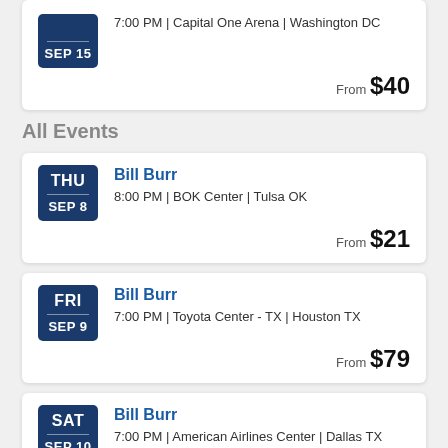7:00 PM | Capital One Arena | Washington DC
From $40
All Events
Bill Burr
8:00 PM | BOK Center | Tulsa OK
From $21
Bill Burr
7:00 PM | Toyota Center - TX | Houston TX
From $79
Bill Burr
7:00 PM | American Airlines Center | Dallas TX
From $50